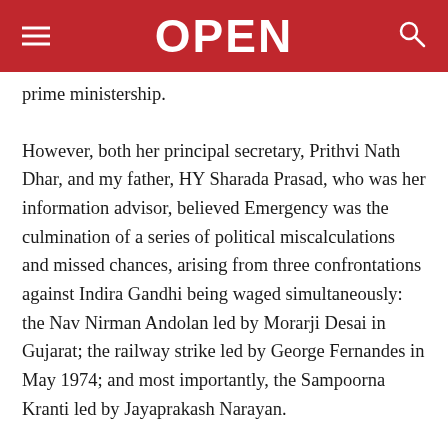OPEN
prime ministership.
However, both her principal secretary, Prithvi Nath Dhar, and my father, HY Sharada Prasad, who was her information advisor, believed Emergency was the culmination of a series of political miscalculations and missed chances, arising from three confrontations against Indira Gandhi being waged simultaneously: the Nav Nirman Andolan led by Morarji Desai in Gujarat; the railway strike led by George Fernandes in May 1974; and most importantly, the Sampoorna Kranti led by Jayaprakash Narayan.